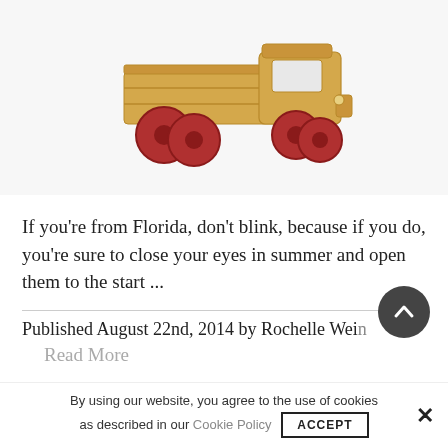[Figure (photo): A wooden toy truck with a flatbed/cargo area and a cab, with red wheels, on a white/light grey background.]
If you're from Florida, don't blink, because if you do, you're sure to close your eyes in summer and open them to the start ...
Published August 22nd, 2014 by Rochelle Wein
Read More
By using our website, you agree to the use of cookies as described in our Cookie Policy   ACCEPT  ×